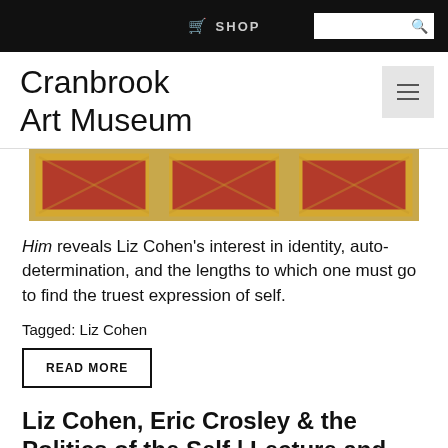SHOP
Cranbrook Art Museum
[Figure (photo): Close-up photo of ornate golden-framed artwork panels with red background, showing decorative architectural or art museum exhibit elements.]
Him reveals Liz Cohen's interest in identity, auto-determination, and the lengths to which one must go to find the truest expression of self.
Tagged: Liz Cohen
READ MORE
Liz Cohen, Eric Crosley & the Politics of the Self | Lecture and Reading Accompany Artist's Latest Exhibition